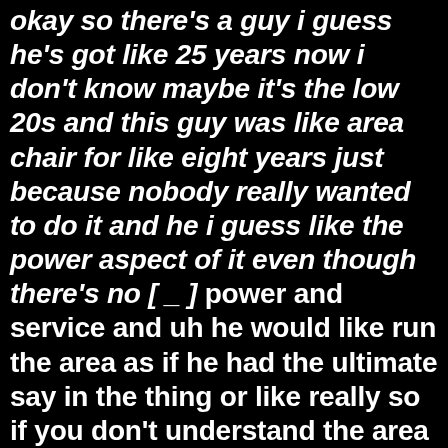okay so there's a guy i guess he's got like 25 years now i don't know maybe it's the low 20s and this guy was like area chair for like eight years just because nobody really wanted to do it and he i guess like the power aspect of it even though there's no [ _ ] power and service and uh he would like run the area as if he had the ultimate say in the thing or like really so if you don't understand the area chair position basically you're just there to kind of mediate the meeting yeah director yeah you're not really guiding the conversation facilitator yeah you it's not your opinion that matters really you're not even supposed to bring an opinion you're just supposed to kind of show up honestly my opinion of what the president's supposed to do too they're just kind of supposed